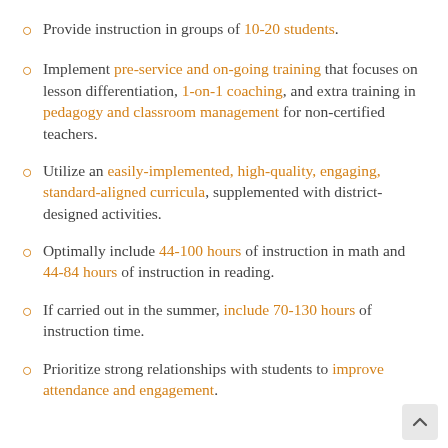Provide instruction in groups of 10-20 students.
Implement pre-service and on-going training that focuses on lesson differentiation, 1-on-1 coaching, and extra training in pedagogy and classroom management for non-certified teachers.
Utilize an easily-implemented, high-quality, engaging, standard-aligned curricula, supplemented with district-designed activities.
Optimally include 44-100 hours of instruction in math and 44-84 hours of instruction in reading.
If carried out in the summer, include 70-130 hours of instruction time.
Prioritize strong relationships with students to improve attendance and engagement.